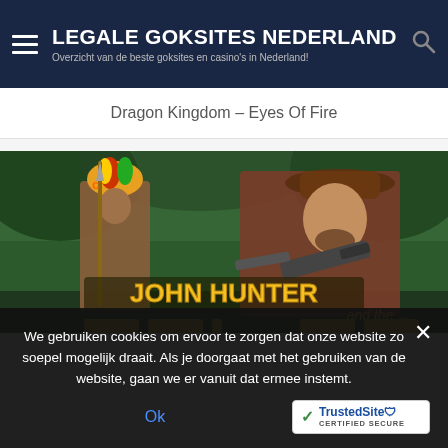LEGALE GOKSITES NEDERLAND — Overzicht van de beste goksites en casino's in Nederland!
Dragon Kingdom – Eyes Of Fire
[Figure (screenshot): Game promotional image for John Hunter slot — showing an adventurer in a cowboy hat aiming a gun and a native warrior with a spear in a jungle setting. Text reads JOHN HUNTER and the...]
We gebruiken cookies om ervoor te zorgen dat onze website zo soepel mogelijk draait. Als je doorgaat met het gebruiken van de website, gaan we er vanuit dat ermee instemt.